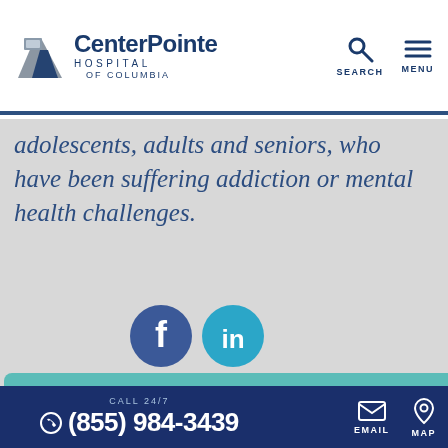[Figure (logo): CenterPointe Hospital of Columbia logo with road/path icon]
[Figure (infographic): Search and Menu navigation icons in dark blue]
adolescents, adults and seniors, who have been suffering addiction or mental health challenges.
[Figure (infographic): Facebook and LinkedIn social media circular icons]
201 International Drive, 4-3439
ase call CenterPointe 4-3439.
[Figure (infographic): Teal modal popup: Looking to apply for one of our open positions? with APPLY HERE button and close X]
nline Privacy Policy
CALL 24/7 (855) 984-3439 EMAIL MAP